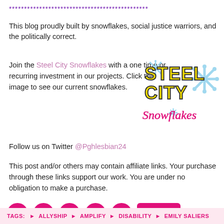**********************************************
This blog proudly built by snowflakes, social justice warriors, and the politically correct.
Join the Steel City Snowflakes with a one time or recurring investment in our projects. Click the image to see our current snowflakes.
[Figure (logo): Steel City Snowflakes logo with snowflake graphics and yellow block lettering]
Follow us on Twitter @Pghlesbian24
This post and/or others may contain affiliate links. Your purchase through these links support our work. You are under no obligation to make a purchase.
[Figure (infographic): Social sharing buttons: Facebook, Twitter, Tumblr, Pinterest, Email, More]
TAGS: ALLYSHIP AMPLIFY DISABILITY EMILY SALIERS